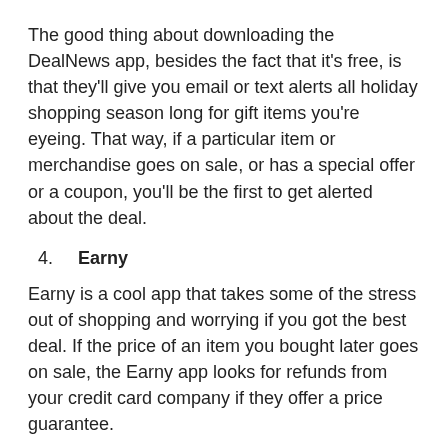The good thing about downloading the DealNews app, besides the fact that it's free, is that they'll give you email or text alerts all holiday shopping season long for gift items you're eyeing. That way, if a particular item or merchandise goes on sale, or has a special offer or a coupon, you'll be the first to get alerted about the deal.
4. Earny
Earny is a cool app that takes some of the stress out of shopping and worrying if you got the best deal. If the price of an item you bought later goes on sale, the Earny app looks for refunds from your credit card company if they offer a price guarantee.
Then you get the money back if the price was lowered after you bought an item.